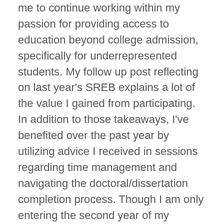me to continue working within my passion for providing access to education beyond college admission, specifically for underrepresented students. My follow up post reflecting on last year's SREB explains a lot of the value I gained from participating. In addition to those takeaways, I've benefited over the past year by utilizing advice I received in sessions regarding time management and navigating the doctoral/dissertation completion process. Though I am only entering the second year of my program, I am as up to speed as possible on the policies and procedures maintained by my graduate program and the graduate school to ensure there are no unforeseen roadblocks as I progress. Although my work is not in a STEM field, my attendance at SREB in Tampa can still serve to facilitate the goal of increasing the number of underrepresented minority professors in STEM fields. As a future professor and/or administrator, I